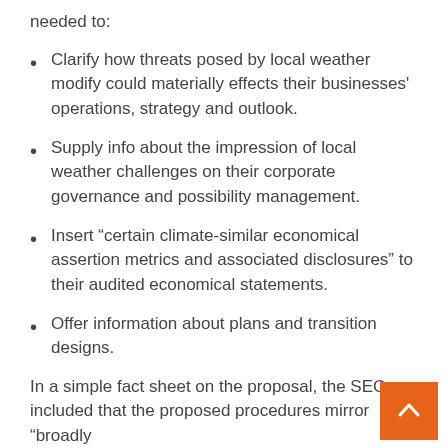needed to:
Clarify how threats posed by local weather modify could materially effects their businesses' operations, strategy and outlook.
Supply info about the impression of local weather challenges on their corporate governance and possibility management.
Insert “certain climate-similar economical assertion metrics and associated disclosures” to their audited economical statements.
Offer information about plans and transition designs.
In a simple fact sheet on the proposal, the SEC included that the proposed procedures mirror “broadly